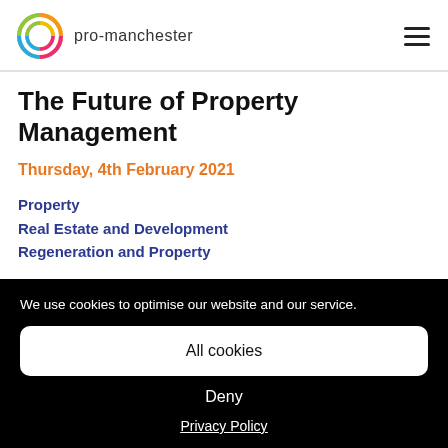pro-manchester
The Future of Property Management
Thursday, 4th February 2021
Property
Real Estate and Development
Regeneration and Property
We use cookies to optimise our website and our service.
All cookies
Deny
Privacy Policy